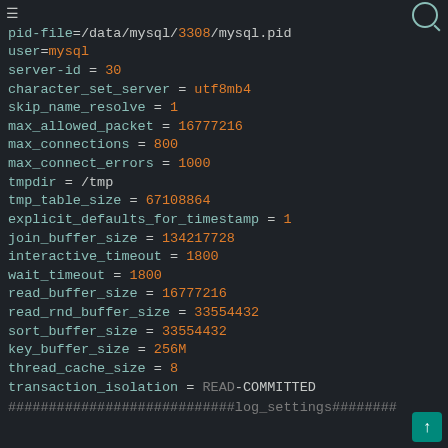socket=/data/mysql/3308/mysql.sock
pid-file=/data/mysql/3308/mysql.pid
user=mysql
server-id = 30
character_set_server = utf8mb4
skip_name_resolve = 1
max_allowed_packet = 16777216
max_connections = 800
max_connect_errors = 1000
tmpdir = /tmp
tmp_table_size = 67108864
explicit_defaults_for_timestamp = 1
join_buffer_size = 134217728
interactive_timeout = 1800
wait_timeout = 1800
read_buffer_size = 16777216
read_rnd_buffer_size = 33554432
sort_buffer_size = 33554432
key_buffer_size = 256M
thread_cache_size = 8
transaction_isolation = READ-COMMITTED
############################log_settings########